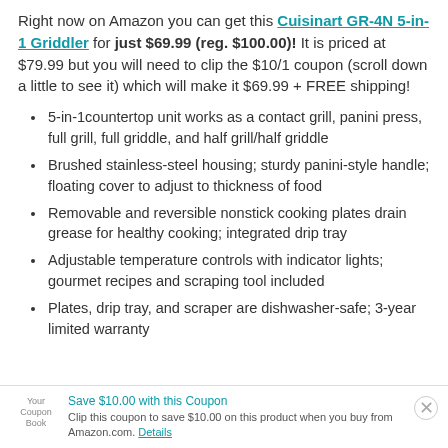Right now on Amazon you can get this Cuisinart GR-4N 5-in-1 Griddler for just $69.99 (reg. $100.00)! It is priced at $79.99 but you will need to clip the $10/1 coupon (scroll down a little to see it) which will make it $69.99 + FREE shipping!
5-in-1countertop unit works as a contact grill, panini press, full grill, full griddle, and half grill/half griddle
Brushed stainless-steel housing; sturdy panini-style handle; floating cover to adjust to thickness of food
Removable and reversible nonstick cooking plates drain grease for healthy cooking; integrated drip tray
Adjustable temperature controls with indicator lights; gourmet recipes and scraping tool included
Plates, drip tray, and scraper are dishwasher-safe; 3-year limited warranty
Save $10.00 with this Coupon. Clip this coupon to save $10.00 on this product when you buy from Amazon.com. Details